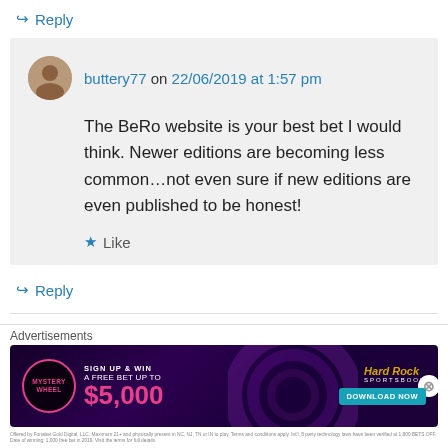↳ Reply
buttery77 on 22/06/2019 at 1:57 pm
The BeRo website is your best bet I would think. Newer editions are becoming less common…not even sure if new editions are even published to be honest!
★ Like
↳ Reply
Lesley France on 03/07/2020 at 12:53 pm
[Figure (screenshot): Hard Rock Sportsbook advertisement banner: Mystery Wheel promotion, Sign Up & Win A Free Bet Up To $5,000, Download Now button]